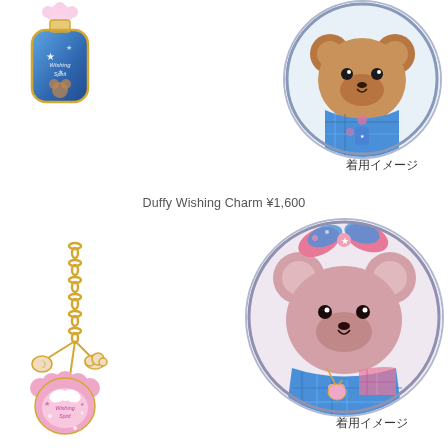[Figure (photo): Duffy Wishing Charm - small bottle shaped enamel charm with blue starry sky design and gold trim, top left]
[Figure (photo): Circular cropped photo of Duffy bear plush toy wearing blue and pink plaid outfit, top right]
着用イメージ
Duffy Wishing Charm ¥1,600
[Figure (photo): ShellieMay Wishing Charm - gold chain charm with pink scallop shell shaped enamel pendant with bow decoration, bottom left]
[Figure (photo): Circular cropped photo of ShellieMay bear plush toy wearing blue and pink patchwork outfit with large bow headpiece, bottom right]
着用イメージ